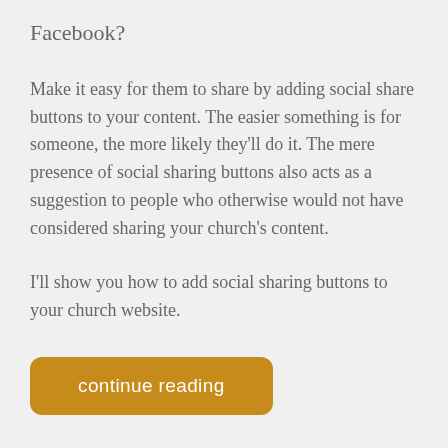Facebook?
Make it easy for them to share by adding social share buttons to your content. The easier something is for someone, the more likely they'll do it. The mere presence of social sharing buttons also acts as a suggestion to people who otherwise would not have considered sharing your church's content.
I'll show you how to add social sharing buttons to your church website.
continue reading